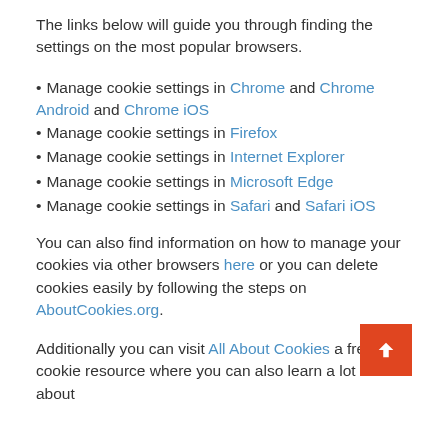The links below will guide you through finding the settings on the most popular browsers.
Manage cookie settings in Chrome and Chrome Android and Chrome iOS
Manage cookie settings in Firefox
Manage cookie settings in Internet Explorer
Manage cookie settings in Microsoft Edge
Manage cookie settings in Safari and Safari iOS
You can also find information on how to manage your cookies via other browsers here or you can delete cookies easily by following the steps on AboutCookies.org.
Additionally you can visit All About Cookies a free cookie resource where you can also learn a lot more about